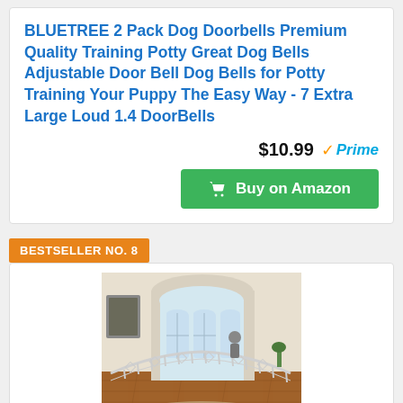BLUETREE 2 Pack Dog Doorbells Premium Quality Training Potty Great Dog Bells Adjustable Door Bell Dog Bells for Potty Training Your Puppy The Easy Way - 7 Extra Large Loud 1.4 DoorBells
$10.99 Prime
Buy on Amazon
BESTSELLER NO. 8
[Figure (photo): Photo of a wide curved white baby/pet gate set up in a large living room with arched doorways, hardwood floors, and bright windows. A person is visible in the background.]